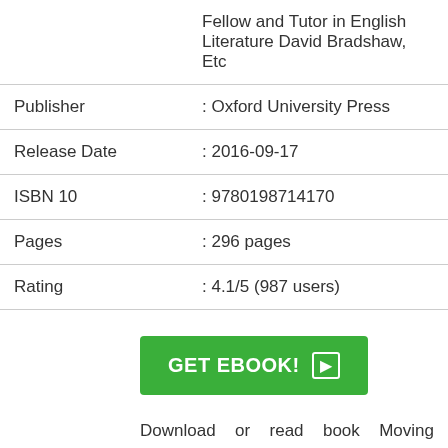| Field | Value |
| --- | --- |
|  | Fellow and Tutor in English Literature David Bradshaw, Etc |
| Publisher | : Oxford University Press |
| Release Date | : 2016-09-17 |
| ISBN 10 | : 9780198714170 |
| Pages | : 296 pages |
| Rating | : 4.1/5 (987 users) |
[Figure (other): Green GET EBOOK! button with arrow icon]
Download or read book Moving Modernisms written by Professor of English Literature Hawthornden Fellow and Tutor in English